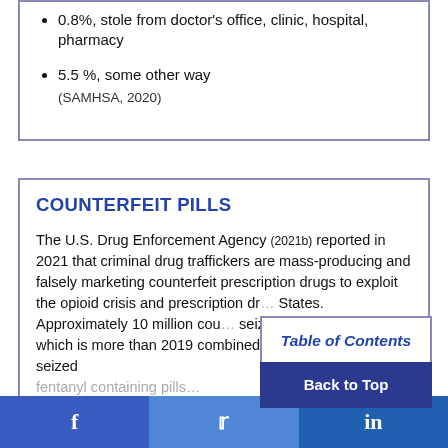0.8%, stole from doctor's office, clinic, hospital, pharmacy
5.5 %, some other way
(SAMHSA, 2020)
COUNTERFEIT PILLS
The U.S. Drug Enforcement Agency (2021b) reported in 2021 that criminal drug traffickers are mass-producing and falsely marketing counterfeit prescription drugs to exploit the opioid crisis and prescription dr... States. Approximately 10 million cou... seized across all states, which is more than 2019 combined. The number of DEA-seized fentanyl containing pills 400% since 2019...
Table of Contents
Back to Top
f  [Facebook]  [Twitter]  in [LinkedIn]